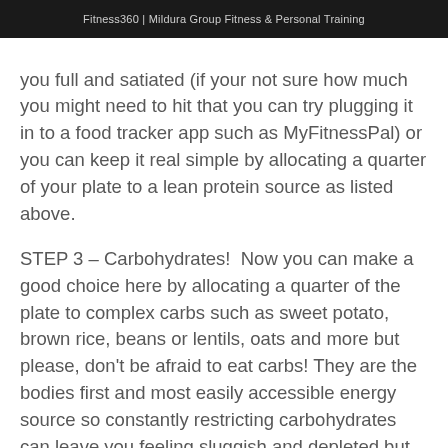Fitness360 | Mildura Group Fitness & Personal Training
you full and satiated (if your not sure how much you might need to hit that you can try plugging it in to a food tracker app such as MyFitnessPal) or you can keep it real simple by allocating a quarter of your plate to a lean protein source as listed above.
STEP 3 – Carbohydrates!  Now you can make a good choice here by allocating a quarter of the plate to complex carbs such as sweet potato, brown rice, beans or lentils, oats and more but please, don't be afraid to eat carbs! They are the bodies first and most easily accessible energy source so constantly restricting carbohydrates can leave you feeling sluggish and depleted but can also have a huge